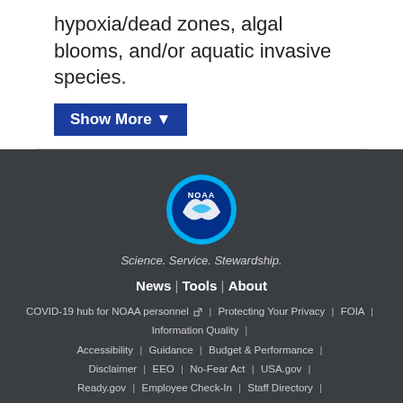hypoxia/dead zones, algal blooms, and/or aquatic invasive species.
Show More ▼
[Figure (logo): NOAA circular logo with blue background and white bird/ocean design with 'NOAA' text]
Science. Service. Stewardship.
News | Tools | About
COVID-19 hub for NOAA personnel | Protecting Your Privacy | FOIA | Information Quality | Accessibility | Guidance | Budget & Performance | Disclaimer | EEO | No-Fear Act | USA.gov | Ready.gov | Employee Check-In | Staff Directory | Contact Us | Need Help?